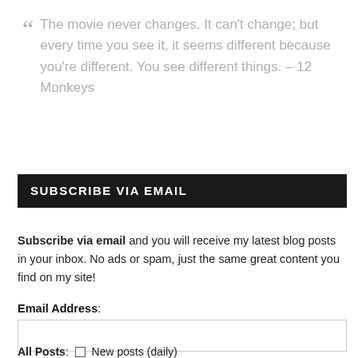“ The movie never changes. It can’t change; but every time you see it, it seems different because you’re different. You see different things. – 12 Monkeys
SUBSCRIBE VIA EMAIL
Subscribe via email and you will receive my latest blog posts in your inbox. No ads or spam, just the same great content you find on my site!
Email Address:
All Posts: ☐ New posts (daily)